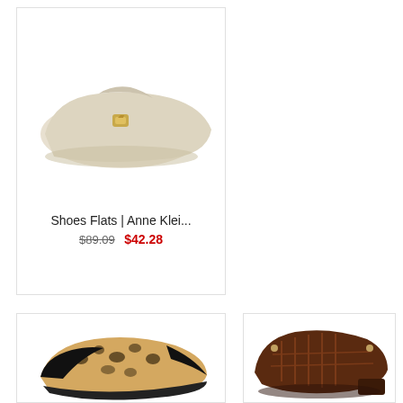[Figure (photo): Beige/cream ballet flat shoe with gold stud embellishment, Anne Klein brand]
Shoes Flats | Anne Klei...
$89.09  $42.28
[Figure (photo): Leopard print and black patent leather ballet flat shoe]
[Figure (photo): Dark brown leather low-heel shoe with decorative stitching and studs]